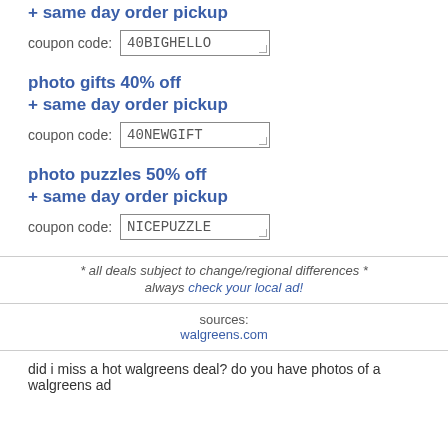+ same day order pickup
coupon code: 40BIGHELLO
photo gifts 40% off
+ same day order pickup
coupon code: 40NEWGIFT
photo puzzles 50% off
+ same day order pickup
coupon code: NICEPUZZLE
* all deals subject to change/regional differences * always check your local ad!
sources:
walgreens.com
did i miss a hot walgreens deal? do you have photos of a walgreens ad